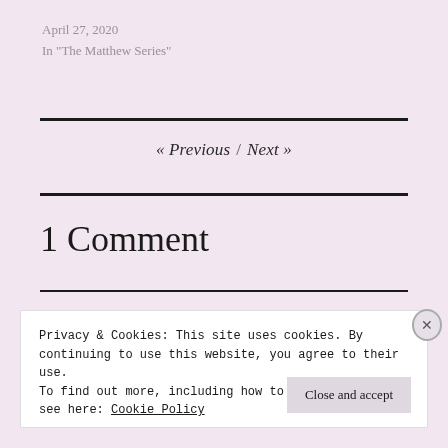April 27, 2020
In "The Matthew Series"
« Previous / Next »
1 Comment
Privacy & Cookies: This site uses cookies. By continuing to use this website, you agree to their use.
To find out more, including how to control cookies, see here: Cookie Policy
Close and accept